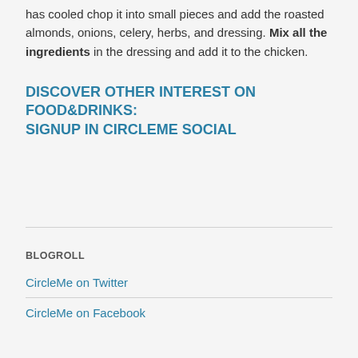has cooled chop it into small pieces and add the roasted almonds, onions, celery, herbs, and dressing. Mix all the ingredients in the dressing and add it to the chicken.
DISCOVER OTHER INTEREST ON FOOD&DRINKS: SIGNUP IN CIRCLEME SOCIAL
BLOGROLL
CircleMe on Twitter
CircleMe on Facebook